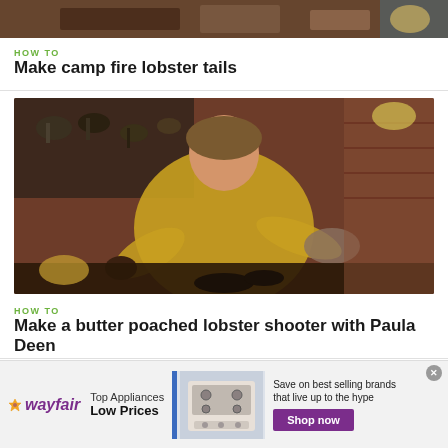[Figure (screenshot): Partial top image of camp fire lobster tails cooking setup]
HOW TO
Make camp fire lobster tails
[Figure (photo): Woman in yellow shirt cooking in a kitchen with hanging pots and brick wall background – Paula Deen making butter poached lobster shooter]
HOW TO
Make a butter poached lobster shooter with Paula Deen
[Figure (other): Wayfair advertisement banner: Top Appliances Low Prices, Save on best selling brands that live up to the hype, Shop now button]